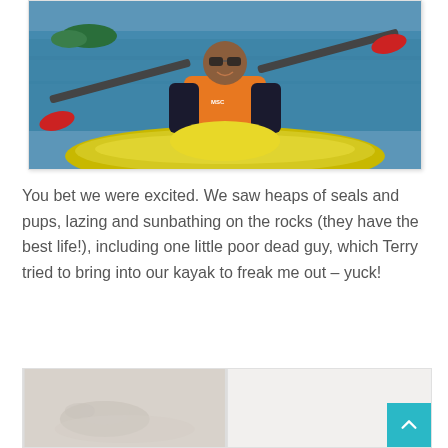[Figure (photo): Person in orange life vest sitting in yellow kayak on blue water, holding red paddle, smiling at camera. Island/trees visible in background.]
You bet we were excited.  We saw heaps of seals and pups, lazing and sunbathing on the rocks (they have the best life!), including one little poor dead guy, which Terry tried to bring into our kayak to freak me out – yuck!
[Figure (photo): Two photos side by side at the bottom of the page — left shows a faded/light image (possibly seals on rocks), right is mostly blank/white.]